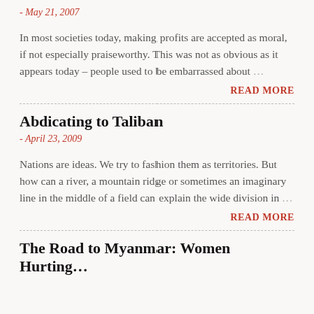- May 21, 2007
In most societies today, making profits are accepted as moral, if not especially praiseworthy. This was not as obvious as it appears today – people used to be embarrassed about …
READ MORE
Abdicating to Taliban
- April 23, 2009
Nations are ideas. We try to fashion them as territories. But how can a river, a mountain ridge or sometimes an imaginary line in the middle of a field can explain the wide division in …
READ MORE
The Road to Myanmar: Women Hurting…